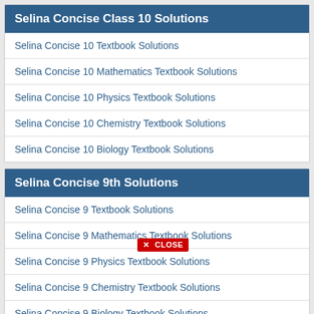Selina Concise Class 10 Solutions
Selina Concise 10 Textbook Solutions
Selina Concise 10 Mathematics Textbook Solutions
Selina Concise 10 Physics Textbook Solutions
Selina Concise 10 Chemistry Textbook Solutions
Selina Concise 10 Biology Textbook Solutions
Selina Concise 9th Solutions
Selina Concise 9 Textbook Solutions
Selina Concise 9 Mathematics Textbook Solutions
Selina Concise 9 Physics Textbook Solutions
Selina Concise 9 Chemistry Textbook Solutions
Selina Concise 9 Biology Textbook Solutions
Selina Concise Class 8th Solutions